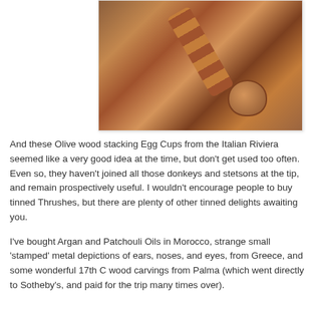[Figure (photo): A wooden stacking egg cup set (olive wood) lying on its side on a wooden surface, with the cup portion separated and lying next to it, showing the turned wood segments and a small hole in the base of the cup.]
And these Olive wood stacking Egg Cups from the Italian Riviera seemed like a very good idea at the time, but don't get used too often. Even so, they haven't joined all those donkeys and stetsons at the tip, and remain prospectively useful. I wouldn't encourage people to buy tinned Thrushes, but there are plenty of other tinned delights awaiting you.
I've bought Argan and Patchouli Oils in Morocco, strange small 'stamped' metal depictions of ears, noses, and eyes, from Greece, and some wonderful 17th C wood carvings from Palma (which went directly to Sotheby's, and paid for the trip many times over).